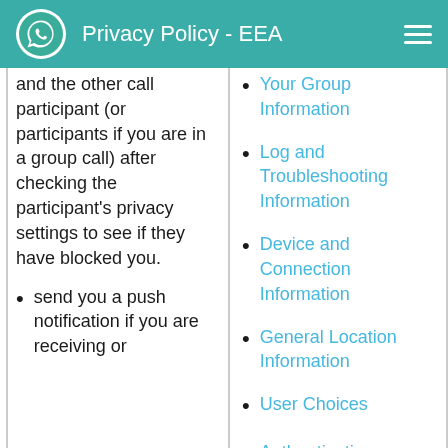Privacy Policy - EEA
and the other call participant (or participants if you are in a group call) after checking the participant's privacy settings to see if they have blocked you.
send you a push notification if you are receiving or
Your Group Information
Log and Troubleshooting Information
Device and Connection Information
General Location Information
User Choices
Authentication